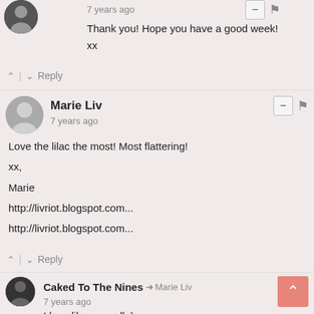Thank you! Hope you have a good week!
xx
^ | v  Reply
Marie Liv
7 years ago
Love the lilac the most! Most flattering!

xx,

Marie

http://livriot.blogspot.com...

http://livriot.blogspot.com...
^ | v  Reply
Caked To The Nines → Marie Liv
7 years ago
I love lilac as well :)
xx